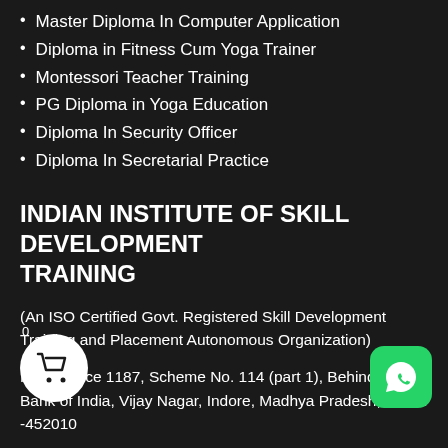Master Diploma In Computer Application
Diploma in Fitness Cum Yoga Trainer
Montessori Teacher Training
PG Diploma in Yoga Education
Diploma In Security Officer
Diploma In Secretarial Practice
INDIAN INSTITUTE OF SKILL DEVELOPMENT TRAINING
(An ISO Certified Govt. Registered Skill Development Training and Placement Autonomous Organization)
Head Office 1187, Scheme No. 114 (part 1), Behind Union Bank of India, Vijay Nagar, Indore, Madhya Pradesh, INDIA -452010
ct No: 8085952100, 9301422300